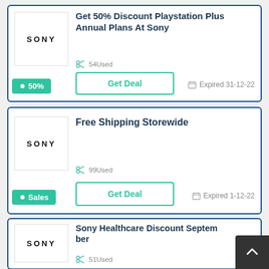[Figure (infographic): Deal card 1: Sony logo, Get 50% Discount Playstation Plus Annual Plans At Sony, 54 Used, 50% badge, Get Deal button, Expired 31-12-22]
[Figure (infographic): Deal card 2: Sony logo, Free Shipping Storewide, 99 Used, Sales badge, Get Deal button, Expired 1-12-22]
[Figure (infographic): Deal card 3 (partial): Sony logo, Sony Healthcare Discount September, 51 Used]